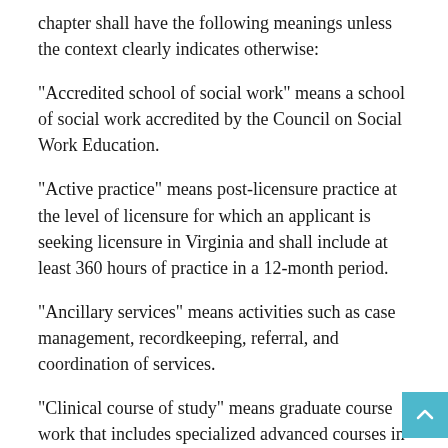chapter shall have the following meanings unless the context clearly indicates otherwise:
"Accredited school of social work" means a school of social work accredited by the Council on Social Work Education.
"Active practice" means post-licensure practice at the level of licensure for which an applicant is seeking licensure in Virginia and shall include at least 360 hours of practice in a 12-month period.
"Ancillary services" means activities such as case management, recordkeeping, referral, and coordination of services.
"Clinical course of study" means graduate course work that includes specialized advanced courses in human behavior and the social environment, social justice and policy, psychopathology, and diversity issues; research; clinical practice with individuals, families, and groups; and a clinical practicum that focuses on diagnostic...